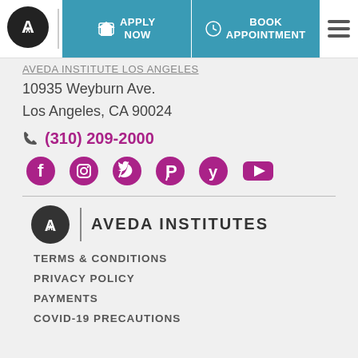[Figure (screenshot): Navigation header with Aveda logo circle, Apply Now and Book Appointment buttons in teal, and hamburger menu icon]
AVEDA INSTITUTE LOS ANGELES
10935 Weyburn Ave.
Los Angeles, CA 90024
(310) 209-2000
[Figure (illustration): Social media icons: Facebook, Instagram, Twitter, Pinterest, Yelp, YouTube - all in purple/magenta]
[Figure (logo): Aveda Institutes logo with circular A icon and AVEDA INSTITUTES text]
TERMS & CONDITIONS
PRIVACY POLICY
PAYMENTS
COVID-19 PRECAUTIONS